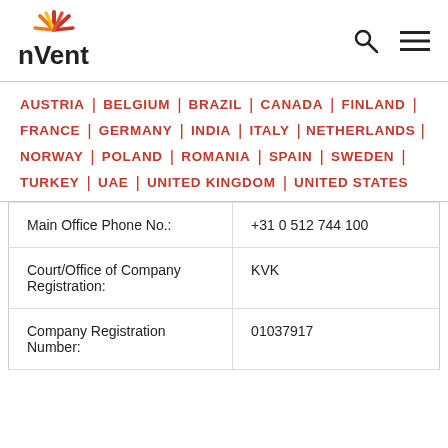[Figure (logo): nVent logo with sunburst rays in red, orange, yellow above the text 'nVent' in dark color]
[Figure (other): Search icon (magnifying glass) and hamburger menu icon on the right side of header]
AUSTRIA | BELGIUM | BRAZIL | CANADA | FINLAND |
FRANCE | GERMANY | INDIA | ITALY | NETHERLANDS |
NORWAY | POLAND | ROMANIA | SPAIN | SWEDEN |
TURKEY | UAE | UNITED KINGDOM | UNITED STATES
|  |  |
| --- | --- |
| Main Office Phone No.: | +31 0 512 744 100 |
| Court/Office of Company Registration: | KVK |
| Company Registration Number: | 01037917 |